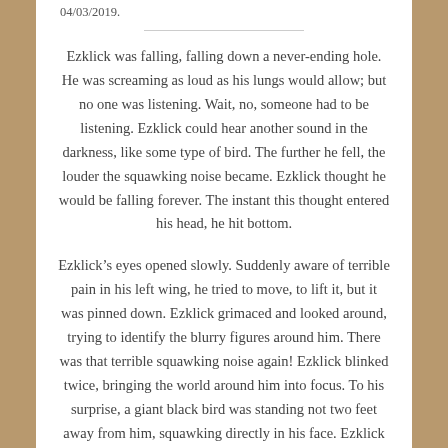04/03/2019.
Ezklick was falling, falling down a never-ending hole. He was screaming as loud as his lungs would allow; but no one was listening. Wait, no, someone had to be listening. Ezklick could hear another sound in the darkness, like some type of bird. The further he fell, the louder the squawking noise became. Ezklick thought he would be falling forever. The instant this thought entered his head, he hit bottom.
Ezklick’s eyes opened slowly. Suddenly aware of terrible pain in his left wing, he tried to move, to lift it, but it was pinned down. Ezklick grimaced and looked around, trying to identify the blurry figures around him. There was that terrible squawking noise again! Ezklick blinked twice, bringing the world around him into focus. To his surprise, a giant black bird was standing not two feet away from him, squawking directly in his face. Ezklick yelped in